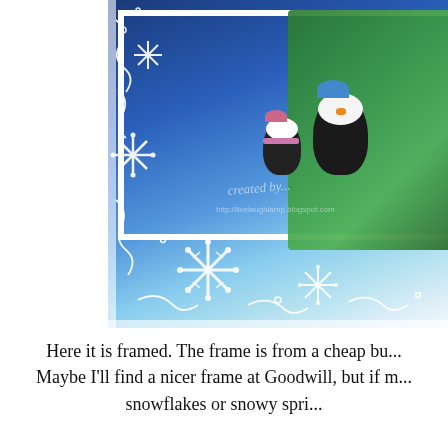[Figure (photo): A close-up photo of a handmade Christmas card framed with white snowflake die-cuts and decorative elements. The card features illustrated penguins carrying a Christmas tree on a snowy blue background. A watermark reads 'created by...' with a blog URL. The card sits inside what appears to be a photo frame viewed from an angle.]
Here it is framed. The frame is from a cheap bu... Maybe I'll find a nicer frame at Goodwill, but if m... snowflakes or snowy spri...